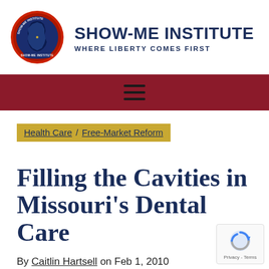[Figure (logo): Show-Me Institute circular logo with Missouri state outline in blue on red background with text 'Show-Me Institute' around the border]
SHOW-ME INSTITUTE
WHERE LIBERTY COMES FIRST
[Figure (other): Dark red navigation bar with hamburger menu icon (three horizontal lines)]
Health Care / Free-Market Reform
Filling the Cavities in Missouri's Dental Care
By Caitlin Hartsell on Feb 1, 2010